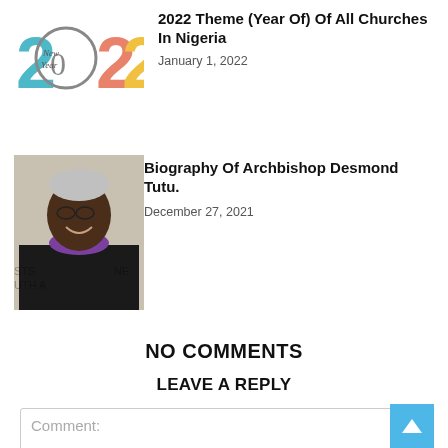[Figure (illustration): 2022 New Year colorful graphic with '2022' text and 'New Year' script]
2022 Theme (Year Of) Of All Churches In Nigeria
January 1, 2022
[Figure (photo): Photo of Archbishop Desmond Tutu smiling, wearing glasses and purple bishop vestment, with partial text 'STS', 'UTH A', 'NE' visible in background]
Biography Of Archbishop Desmond Tutu.
December 27, 2021
NO COMMENTS
LEAVE A REPLY
Comment: